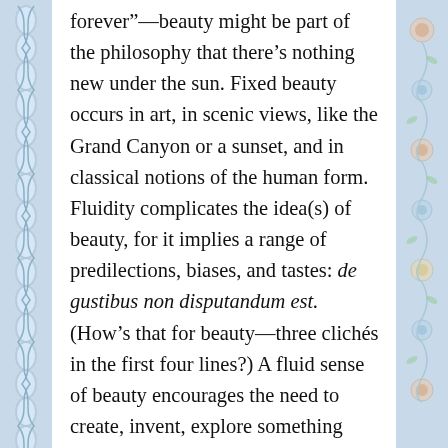[Figure (illustration): Decorative border on left side with blue and white braided/woven pattern]
[Figure (illustration): Decorative border on right side with blue and white floral/scroll pattern]
forever”—beauty might be part of the philosophy that there’s nothing new under the sun. Fixed beauty occurs in art, in scenic views, like the Grand Canyon or a sunset, and in classical notions of the human form. Fluidity complicates the idea(s) of beauty, for it implies a range of predilections, biases, and tastes: de gustibus non disputandum est. (How’s that for beauty—three clichés in the first four lines?) A fluid sense of beauty encourages the need to create, invent, explore something new “under the sun.” Today new